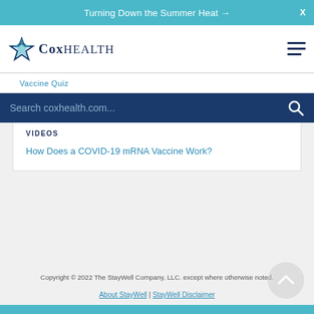Turning Down the Summer Heat →
[Figure (logo): CoxHealth logo with star/sparkle icon and serif text]
Vaccine Quiz
Search coxhealth.com...
VIDEOS
How Does a COVID-19 mRNA Vaccine Work?
Copyright © 2022 The StayWell Company, LLC. except where otherwise noted.
About StayWell | StayWell Disclaimer